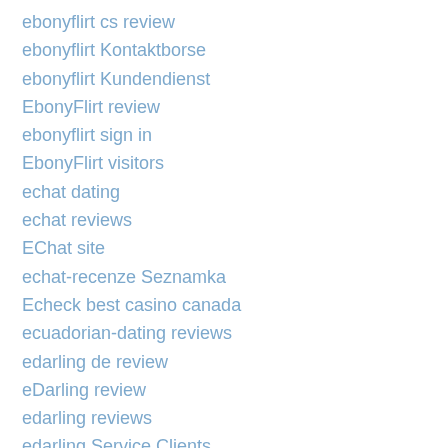ebonyflirt cs review
ebonyflirt Kontaktborse
ebonyflirt Kundendienst
EbonyFlirt review
ebonyflirt sign in
EbonyFlirt visitors
echat dating
echat reviews
EChat site
echat-recenze Seznamka
Echeck best casino canada
ecuadorian-dating reviews
edarling de review
eDarling review
edarling reviews
edarling Service Clients
eDarling visitors
edarling-overzicht Dating